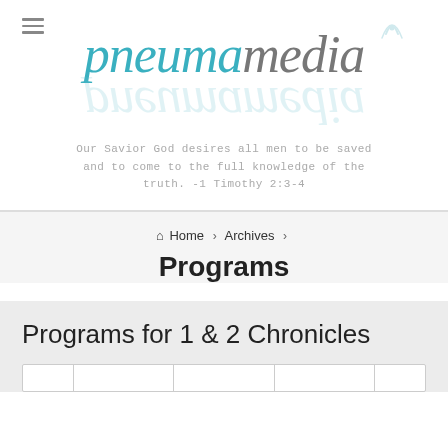[Figure (logo): Pneuma Media logo with teal italic 'pneuma' and grey italic 'media', reflection below, and signal icon top right]
Our Savior God desires all men to be saved and to come to the full knowledge of the truth. -1 Timothy 2:3-4
Home > Archives >
Programs
Programs for 1 & 2 Chronicles
|  |  |  |  |  |
| --- | --- | --- | --- | --- |